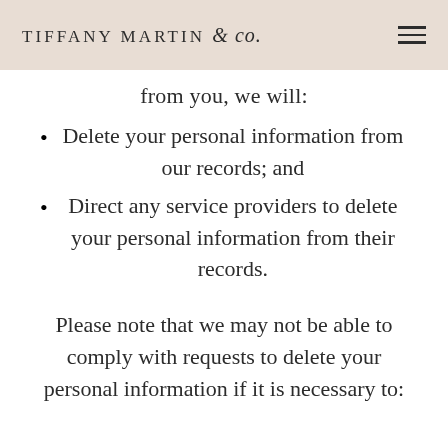TIFFANY MARTIN & co.
from you, we will:
Delete your personal information from our records; and
Direct any service providers to delete your personal information from their records.
Please note that we may not be able to comply with requests to delete your personal information if it is necessary to: